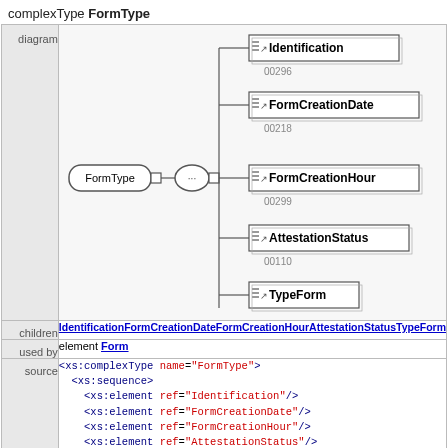complexType FormType
[Figure (engineering-diagram): XML schema diagram showing FormType complex type with a sequence connector leading to five child elements: Identification (00296), FormCreationDate (00218), FormCreationHour (00299), AttestationStatus (00110), TypeForm (00297)]
| children | IdentificationFormCreationDateFormCreationHourAttestationStatusTypeForm |
| --- | --- |
| used by | element Form |
| source | <xs:complexType name="FormType">
  <xs:sequence>
    <xs:element ref="Identification"/>
    <xs:element ref="FormCreationDate"/>
    <xs:element ref="FormCreationHour"/>
    <xs:element ref="AttestationStatus"/> |